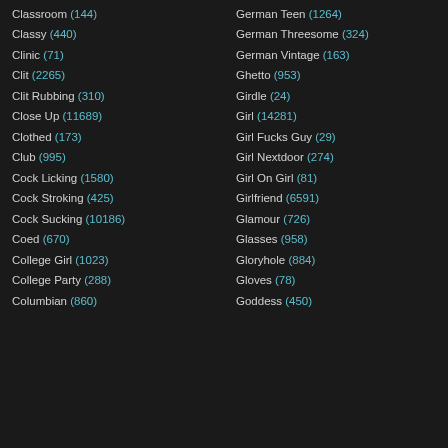Classroom (144)
Classy (440)
Clinic (71)
Clit (2265)
Clit Rubbing (310)
Close Up (11689)
Clothed (173)
Club (995)
Cock Licking (1580)
Cock Stroking (425)
Cock Sucking (10186)
Coed (670)
College Girl (1023)
College Party (288)
Columbian (860)
German Teen (1264)
German Threesome (324)
German Vintage (163)
Ghetto (953)
Girdle (24)
Girl (14281)
Girl Fucks Guy (29)
Girl Nextdoor (274)
Girl On Girl (81)
Girlfriend (6591)
Glamour (726)
Glasses (958)
Gloryhole (884)
Gloves (78)
Goddess (450)